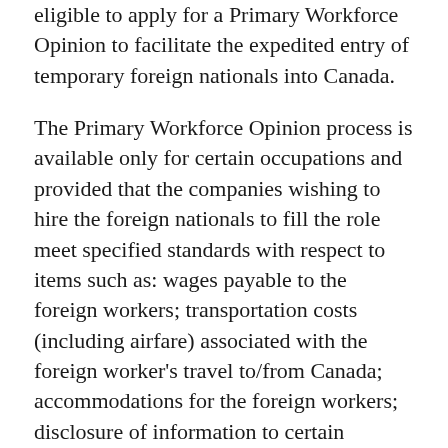eligible to apply for a Primary Workforce Opinion to facilitate the expedited entry of temporary foreign nationals into Canada.
The Primary Workforce Opinion process is available only for certain occupations and provided that the companies wishing to hire the foreign nationals to fill the role meet specified standards with respect to items such as: wages payable to the foreign workers; transportation costs (including airfare) associated with the foreign worker's travel to/from Canada; accommodations for the foreign workers; disclosure of information to certain government agencies to address security concerns; and other issues related to their employment.
There is a long list of occupations for which employers may be eligible to apply for this expedited process, if they need to fill their workforce need by hiring foreign workers. The